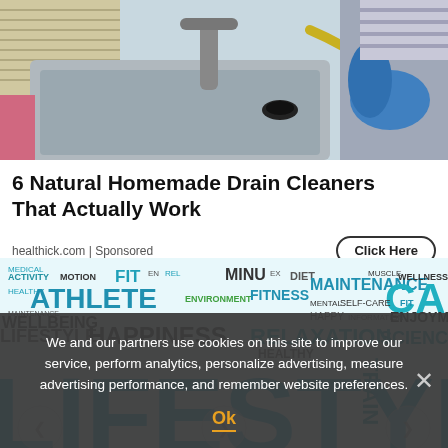[Figure (photo): Person wearing blue gloves cleaning a kitchen sink with a faucet and yellow hose visible]
6 Natural Homemade Drain Cleaners That Actually Work
healthick.com | Sponsored
[Figure (illustration): Lifestyle word cloud banner with words like ATHLETE, HAPPINESS, RELAXATION, FIT, WELLBEING, MAINTENANCE, CAR, SCIENCE, FITNESS, ENJOYMENT, and large LIFESTYLE text in blue]
We and our partners use cookies on this site to improve our service, perform analytics, personalize advertising, measure advertising performance, and remember website preferences.
Ok